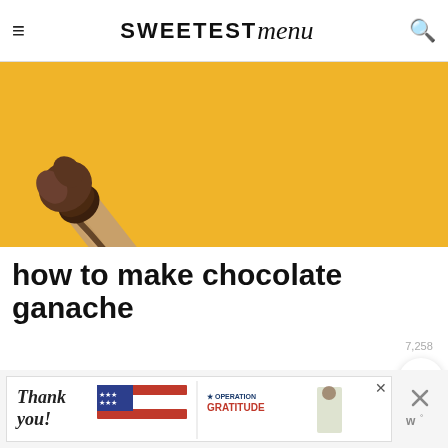SWEETEST menu
[Figure (photo): Close-up photo of a hand dipping a wooden stick into dark chocolate ganache against a yellow background]
how to make chocolate ganache
You can make ganache on the stove or in the microwave. For this frosting, I find the stove top method to be the easiest.
[Figure (infographic): Advertisement banner: 'Thank you!' with American flag graphic and Operation Gratitude logo; floating heart and search action buttons with 7,258 count]